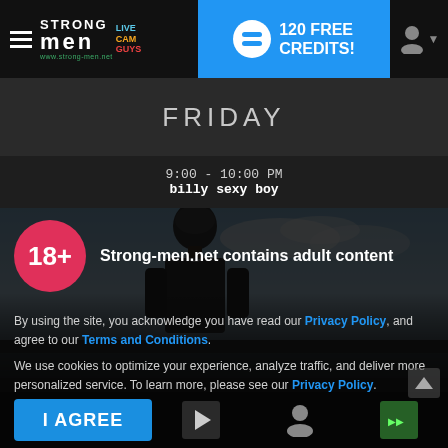STRONG MEN LIVE CAM GUYS — 120 FREE CREDITS! www.strong-men.net
FRIDAY
9:00 - 10:00 PM
billy sexy boy
[Figure (photo): Shirtless performer in outdoor sky background – billy sexy boy]
Strong-men.net contains adult content
By using the site, you acknowledge you have read our Privacy Policy, and agree to our Terms and Conditions.

We use cookies to optimize your experience, analyze traffic, and deliver more personalized service. To learn more, please see our Privacy Policy.
I AGREE